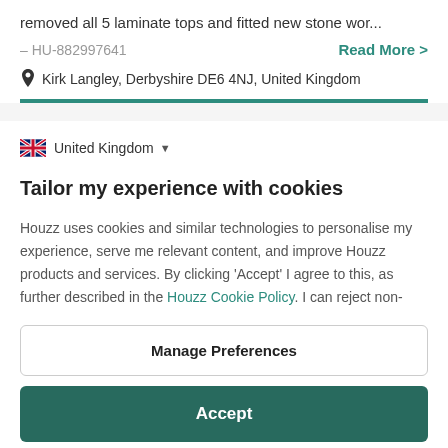removed all 5 laminate tops and fitted new stone wor...
– HU-882997641
Read More >
Kirk Langley, Derbyshire DE6 4NJ, United Kingdom
United Kingdom
Tailor my experience with cookies
Houzz uses cookies and similar technologies to personalise my experience, serve me relevant content, and improve Houzz products and services. By clicking 'Accept' I agree to this, as further described in the Houzz Cookie Policy. I can reject non-
Manage Preferences
Accept